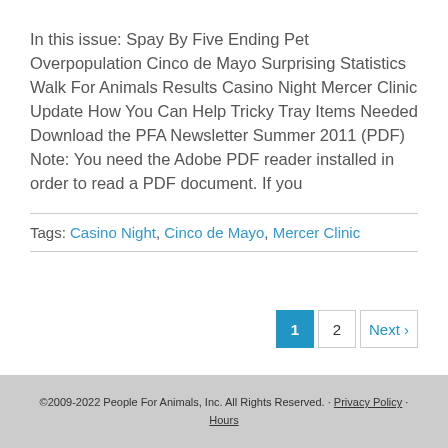In this issue: Spay By Five Ending Pet Overpopulation Cinco de Mayo Surprising Statistics Walk For Animals Results Casino Night Mercer Clinic Update How You Can Help Tricky Tray Items Needed Download the PFA Newsletter Summer 2011 (PDF) Note: You need the Adobe PDF reader installed in order to read a PDF document. If you
Tags: Casino Night, Cinco de Mayo, Mercer Clinic
©2009-2022 People For Animals, Inc. All Rights Reserved. · Privacy Policy · Hours